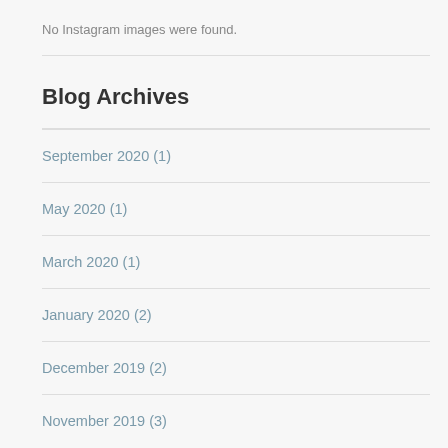No Instagram images were found.
Blog Archives
September 2020 (1)
May 2020 (1)
March 2020 (1)
January 2020 (2)
December 2019 (2)
November 2019 (3)